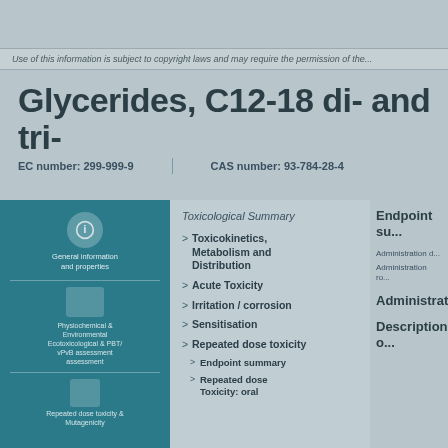Use of this information is subject to copyright laws and may require the permission...
Glycerides, C12-18 di- and tri-
EC number: 299-999-9   CAS number: 93-784-28-4
[Figure (infographic): Teal blue panel with icons for chemical substance information sections including Physiochemical & Environmental properties, and Repeated dose toxicity]
Toxicological Summary
Toxicokinetics, Metabolism and Distribution
Acute Toxicity
Irritation / corrosion
Sensitisation
Repeated dose toxicity
Endpoint summary
Repeated dose toxicity: oral
Endpoint su...
Administration d...
Administration ro...
Administration...
Description o...